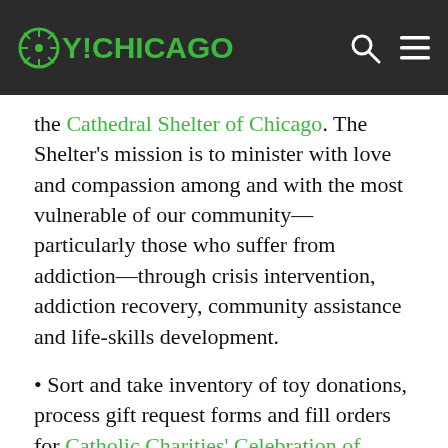OY!CHICAGO
the Cathedral Shelter of Chicago. The Shelter's mission is to minister with love and compassion among and with the most vulnerable of our community—particularly those who suffer from addiction—through crisis intervention, addiction recovery, community assistance and life-skills development.
• Sort and take inventory of toy donations, process gift request forms and fill orders for Catholic Charities' Celebration of Giving, a month-long effort to collect gifts for many of the children and families served by Catholic Charities. This 59-year tradition brings the spirit of the holidays to agency clients who struggle with desperate and crisis situations, by creating a